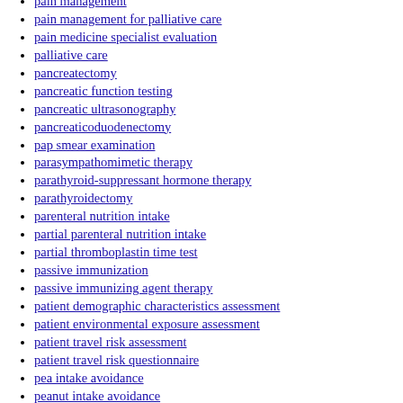pain management
pain management for palliative care
pain medicine specialist evaluation
palliative care
pancreatectomy
pancreatic function testing
pancreatic ultrasonography
pancreaticoduodenectomy
pap smear examination
parasympathomimetic therapy
parathyroid-suppressant hormone therapy
parathyroidectomy
parenteral nutrition intake
partial parenteral nutrition intake
partial thromboplastin time test
passive immunization
passive immunizing agent therapy
patient demographic characteristics assessment
patient environmental exposure assessment
patient travel risk assessment
patient travel risk questionnaire
pea intake avoidance
peanut intake avoidance
pediatric anesthesiology specialist evaluation
pediatric cardiologist evaluation